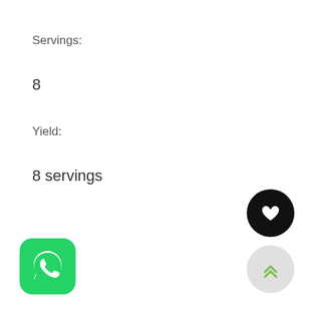Servings:
8
Yield:
8 servings
[Figure (logo): WhatsApp green icon with white phone handset in speech bubble, rounded square shape]
[Figure (other): Black circular button with white heart icon]
[Figure (other): Light grey circular button with green double chevron up arrows]